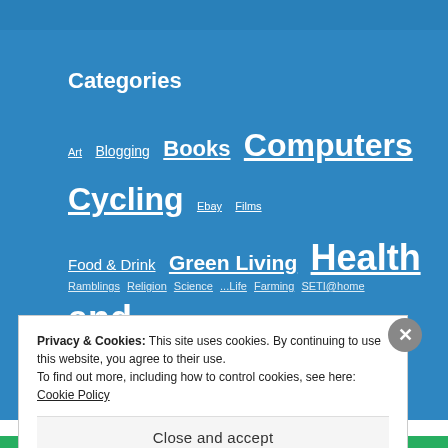Categories
Art  Blogging  Books  Computers  Cycling  Ebay  Films  Food & Drink  Green Living  Health and Fitness  History  Hoarding  Internet  Model Railway  Music  News  Photography  Poetry  Politics  Psychology  Ramblings  Religion  Science  ... Life  Farming  SETI@home
Privacy & Cookies: This site uses cookies. By continuing to use this website, you agree to their use.
To find out more, including how to control cookies, see here: Cookie Policy
Close and accept